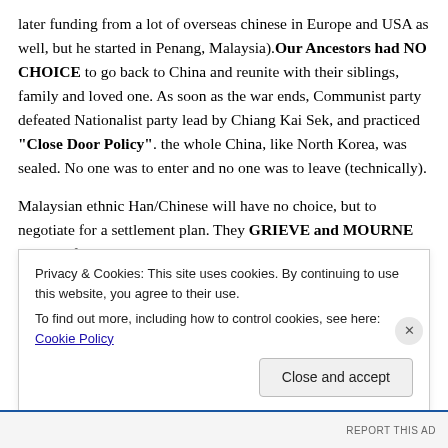later funding from a lot of overseas chinese in Europe and USA as well, but he started in Penang, Malaysia).Our Ancestors had NO CHOICE to go back to China and reunite with their siblings, family and loved one. As soon as the war ends, Communist party defeated Nationalist party lead by Chiang Kai Sek, and practiced "Close Door Policy". the whole China, like North Korea, was sealed. No one was to enter and no one was to leave (technically).
Malaysian ethnic Han/Chinese will have no choice, but to negotiate for a settlement plan. They GRIEVE and MOURNE over the fact that they could no longer go back and reunite with their family in mainland China. But settlement in
Privacy & Cookies: This site uses cookies. By continuing to use this website, you agree to their use.
To find out more, including how to control cookies, see here: Cookie Policy
Close and accept